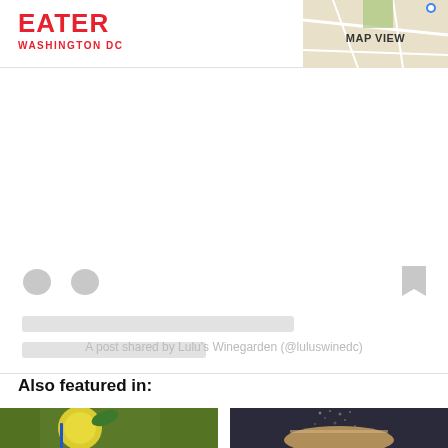EATER WASHINGTON DC
MAP VIEW
[Figure (screenshot): Instagram embed loading placeholder with heart and bookmark icons and two grey loading bars]
A post shared by Lulu's Winegarden (@luluswinedc)
Also featured in:
[Figure (photo): Photo of a lemon slice with a blue straw in a drink]
[Figure (photo): Photo of a drink being poured with powder falling into foam]